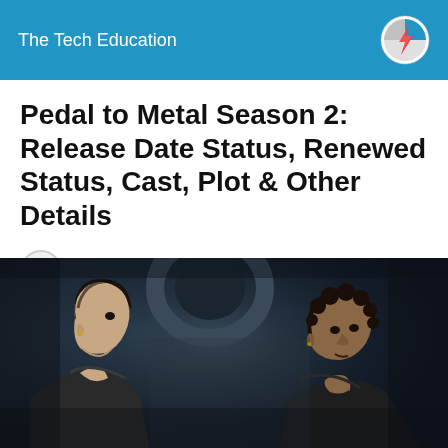The Tech Education
Pedal to Metal Season 2: Release Date Status, Renewed Status, Cast, Plot & Other Details
Elena Nicolaou    5 months ago
[Figure (photo): Two young men in a dimly lit garage setting, one with straight hair looking to the right, the other with curly hair looking toward the first, a car tire visible in the background]